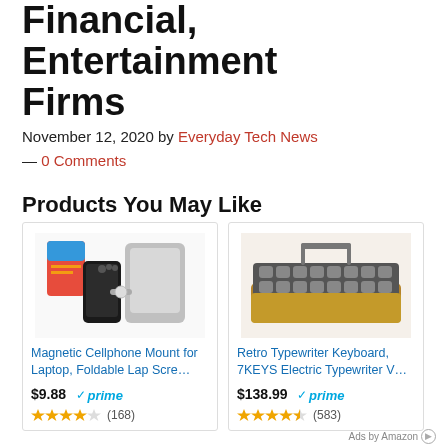Financial, Entertainment Firms
November 12, 2020by Everyday Tech News — 0 Comments
Products You May Like
[Figure (photo): Magnetic Cellphone Mount for Laptop, Foldable Lap Scre... product image showing phone mount]
Magnetic Cellphone Mount for Laptop, Foldable Lap Scre... $9.88 prime ★★★★☆ (168)
[Figure (photo): Retro Typewriter Keyboard, 7KEYS Electric Typewriter V... product image showing retro keyboard]
Retro Typewriter Keyboard, 7KEYS Electric Typewriter V... $138.99 prime ★★★★½ (583)
Ads by Amazon